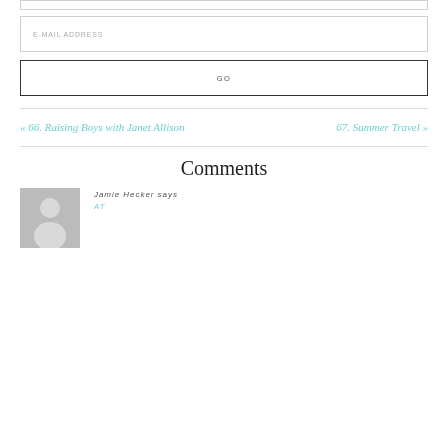E-MAIL ADDRESS
GO
« 66. Raising Boys with Janet Allison
67. Summer Travel »
Comments
Jamie Hecker says
AT